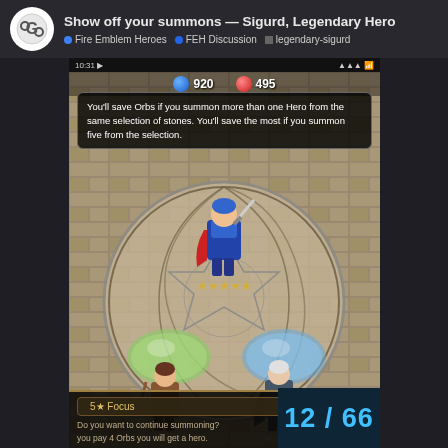Show off your summons — Sigurd, Legendary Hero | Fire Emblem Heroes · FEH Discussion · legendary-sigurd
[Figure (screenshot): Mobile game screenshot from Fire Emblem Heroes showing a legendary summon session. Status bar shows 10:31 time. Resource bar shows 920 blue orbs and 495 red orbs. A tooltip reads: "You'll save Orbs if you summon more than one Hero from the same selection of stones. You'll save the most if you summon five from the selection." The main area shows a stone mandala/circle with three revealed heroes: Marth (5-star, top center), a female archer (4-star, bottom left), and a white-haired mage (4-star, bottom right). Two green and blue orb stones remain unselected. Bottom bar shows 5★ Focus at 8.00% and text "Do you want to continue summoning? you pay 4 Orbs you will get a hero." A teal box shows 12/66.]